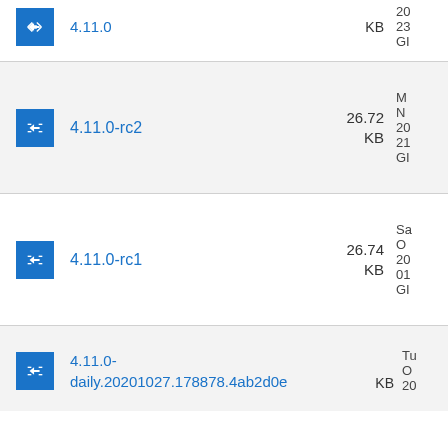4.11.0 — KB — 20... 23... GI...
4.11.0-rc2 — 26.72 KB — M... N... 20... 21... GI...
4.11.0-rc1 — 26.74 KB — Sa... O... 20... 01... GI...
4.11.0-daily.20201027.178878.4ab2d0e — KB — Tu... O... 20... 09...